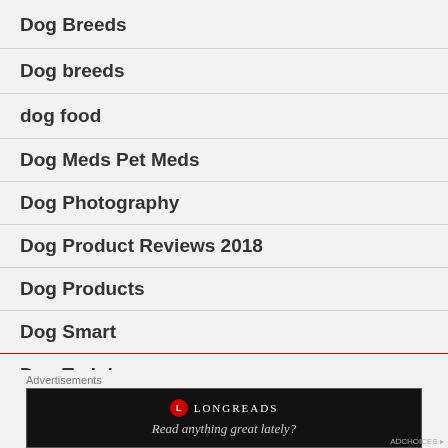Dog Breeds
Dog breeds
dog food
Dog Meds Pet Meds
Dog Photography
Dog Product Reviews 2018
Dog Products
Dog Smart
Dog Training
[Figure (screenshot): Advertisement banner: Longreads logo with text 'Read anything great lately?' on black background]
ADCHOICES